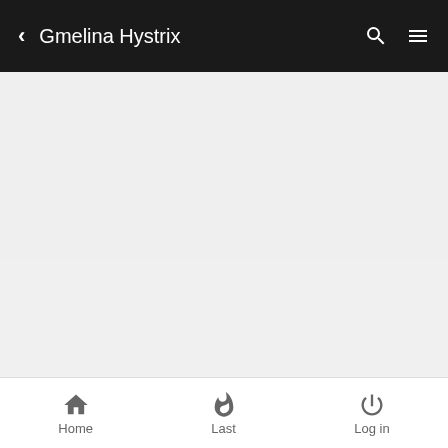Gmelina Hystrix
Internet Bonsai Club > IBC Forum > Members' Trees
Gmelina Hystrix
3 posters
Home  Last  Log in